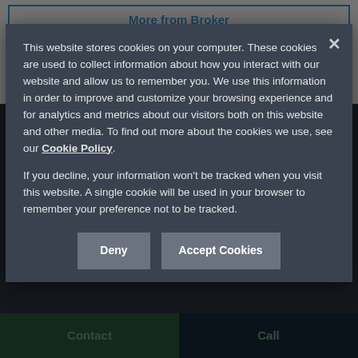More from Broker
2016 Christcraft Catamaran 64ft
USD $89,000
Manatapan, Florida
Basics
Year   2016
Offered By: Kitson Yachts
Contact
Call
This website stores cookies on your computer. These cookies are used to collect information about how you interact with our website and allow us to remember you. We use this information in order to improve and customize your browsing experience and for analytics and metrics about our visitors both on this website and other media. To find out more about the cookies we use, see our Cookie Policy.

If you decline, your information won't be tracked when you visit this website. A single cookie will be used in your browser to remember your preference not to be tracked.
Deny
Accept Cookies